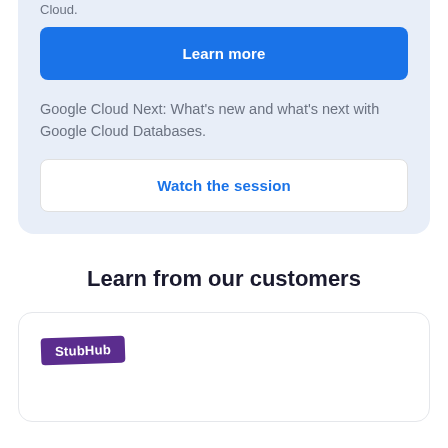Cloud.
Learn more
Google Cloud Next: What's new and what's next with Google Cloud Databases.
Watch the session
Learn from our customers
[Figure (logo): StubHub logo — white text on purple background, slightly rotated]